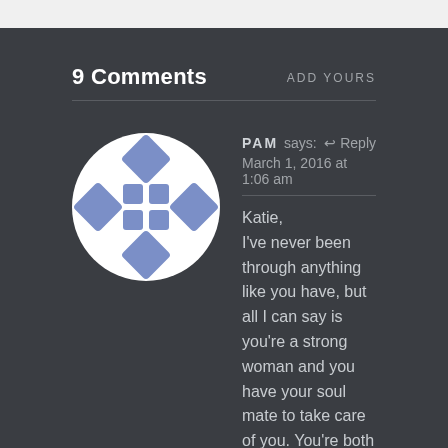9 Comments
ADD YOURS
[Figure (illustration): Circular avatar image with blue and white diamond/grid pattern on dark background]
PAM says:
March 1, 2016 at 1:06 am
↩ Reply
Katie,
I've never been through anything like you have, but all I can say is you're a strong woman and you have your soul mate to take care of you. You're both in for the long haul and no matter what, you will survive. I'm praying for you!!!